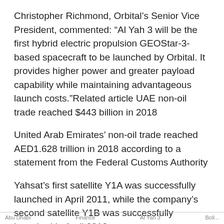Christopher Richmond, Orbital’s Senior Vice President, commented: “Al Yah 3 will be the first hybrid electric propulsion GEOStar-3-based spacecraft to be launched by Orbital. It provides higher power and greater payload capability while maintaining advantageous launch costs.”Related article UAE non-oil trade reached $443 billion in 2018
United Arab Emirates’ non-oil trade reached AED1.628 trillion in 2018 according to a statement from the Federal Customs Authority
Yahsat’s first satellite Y1A was successfully launched in April 2011, while the company’s second satellite Y1B was successfully launched in April 2012.
Abu Dhabi     Finance     Al Yah 3     Boll...